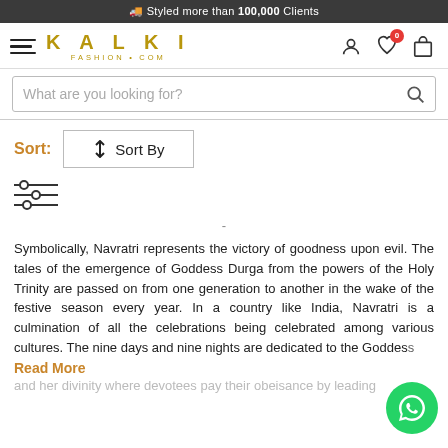🚚 Styled more than 100,000 Clients
[Figure (logo): KALKI FASHION.COM logo with hamburger menu and icons]
What are you looking for?
Sort: ↕ Sort By
[Figure (other): Filter/sliders icon]
-
Symbolically, Navratri represents the victory of goodness upon evil. The tales of the emergence of Goddess Durga from the powers of the Holy Trinity are passed on from one generation to another in the wake of the festive season every year. In a country like India, Navratri is a culmination of all the celebrations being celebrated among various cultures. The nine days and nine nights are dedicated to the Goddess
Read More
and her divinity where devotees pay their obeisance by leading